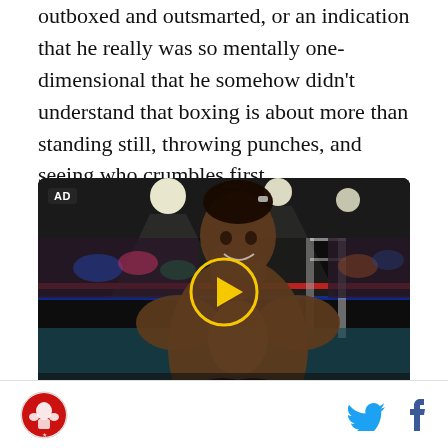outboxed and outsmarted, or an indication that he really was so mentally one-dimensional that he somehow didn't understand that boxing is about more than standing still, throwing punches, and seeing who crumbles first.
[Figure (photo): Video player showing a boxer in a boxing ring with arena lights and crowd in background. An AD badge is visible in the top-left corner and a yellow play button circle is centered on the image.]
Site logo (circular red badge with boxer illustration) on the left; Twitter and Facebook social icons on the right.